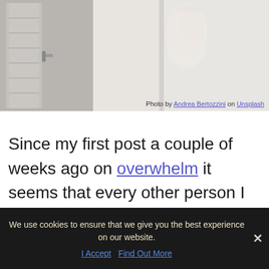[Figure (photo): A woman in a lacy white wedding dress standing near a window with shutters, photographed from behind]
Photo by Andrea Bertozzini on Unsplash
Since my first post a couple of weeks ago on overwhelm it seems that every other person I meet is going through their own version of meeting overwhelm in their lives. Whether they are blaming it on the recent mercury retrograde or Christmas
We use cookies to ensure that we give you the best experience on our website.
I Accept   Find Out More